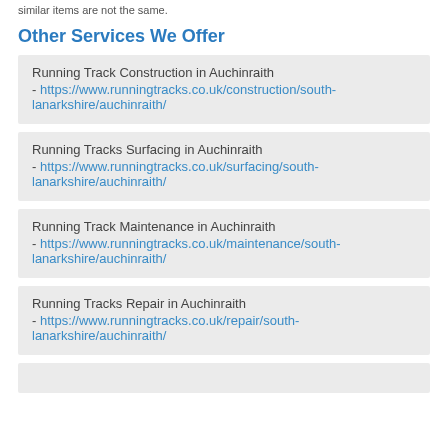similar items are not the same.
Other Services We Offer
Running Track Construction in Auchinraith - https://www.runningtracks.co.uk/construction/south-lanarkshire/auchinraith/
Running Tracks Surfacing in Auchinraith - https://www.runningtracks.co.uk/surfacing/south-lanarkshire/auchinraith/
Running Track Maintenance in Auchinraith - https://www.runningtracks.co.uk/maintenance/south-lanarkshire/auchinraith/
Running Tracks Repair in Auchinraith - https://www.runningtracks.co.uk/repair/south-lanarkshire/auchinraith/